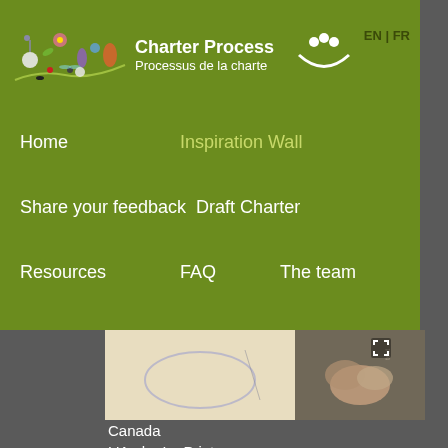[Figure (screenshot): Charter Process website navigation overlay with green background showing logo with colorful illustration, 'Charter Process / Processus de la charte' title, people icon, EN|FR language switcher, and navigation menu items: Home, Inspiration Wall (active/highlighted), Share your feedback, Draft Charter, Resources, FAQ, The team]
Canada
L'Arche Le Printemps
[Figure (photo): Photo strip showing hands/drawings on paper, and people hands overlapping. Below: group photo in a red-walled room with people around a laptop, and another group photo in a lighter space.]